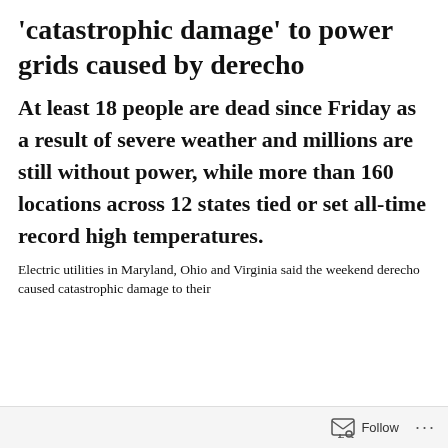'catastrophic damage' to power grids caused by derecho
At least 18 people are dead since Friday as a result of severe weather and millions are still without power, while more than 160 locations across 12 states tied or set all-time record high temperatures.
Electric utilities in Maryland, Ohio and Virginia said the weekend derecho caused catastrophic damage to their
Follow ···